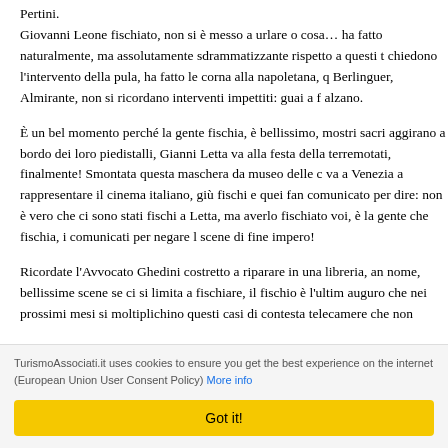Pertini. Giovanni Leone fischiato, non si è messo a urlare o cosa… ha fatto naturalmente, ma assolutamente sdrammatizzante rispetto a questi t chiedono l'intervento della pula, ha fatto le corna alla napoletana, q Berlinguer, Almirante, non si ricordano interventi impettiti: guai a f alzano.
È un bel momento perché la gente fischia, è bellissimo, mostri sacri aggirano a bordo dei loro piedistalli, Gianni Letta va alla festa della terremotati, finalmente! Smontata questa maschera da museo delle c va a Venezia a rappresentare il cinema italiano, giù fischi e quei fan comunicato per dire: non è vero che ci sono stati fischi a Letta, ma averlo fischiato voi, è la gente che fischia, i comunicati per negare l scene di fine impero!
Ricordate l'Avvocato Ghedini costretto a riparare in una libreria, an nome, bellissime scene se ci si limita a fischiare, il fischio è l'ultim auguro che nei prossimi mesi si moltiplichino questi casi di contesta telecamere che non possono fare a meno di notarli, anche se poi cer alimenta nell'opinione pubblica l'idea che sta finendo questo regim pagliacciate, sta finendo in una storia amara, cosa perché bisogna
TurismoAssociati.it uses cookies to ensure you get the best experience on the internet (European Union User Consent Policy) More info
Got it!